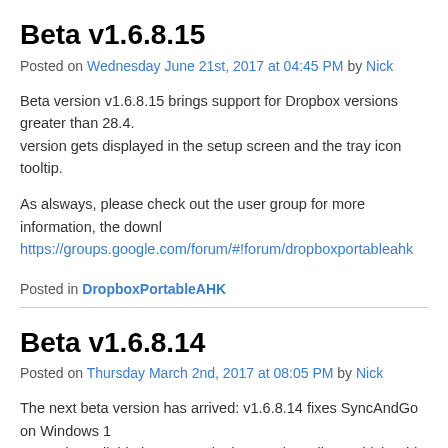Beta v1.6.8.15
Posted on Wednesday June 21st, 2017 at 04:45 PM by Nick
Beta version v1.6.8.15 brings support for Dropbox versions greater than 28.4. version gets displayed in the setup screen and the tray icon tooltip.
As alsways, please check out the user group for more information, the downl https://groups.google.com/forum/#!forum/dropboxportableahk
Posted in DropboxPortableAHK
Beta v1.6.8.14
Posted on Thursday March 2nd, 2017 at 08:05 PM by Nick
The next beta version has arrived: v1.6.8.14 fixes SyncAndGo on Windows 1 currently available languages in the Dropbox client, which adds support for u